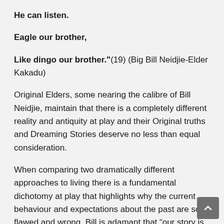He can listen.
Eagle our brother,
Like dingo our brother."(19) (Big Bill Neidjie-Elder Kakadu)
Original Elders, some nearing the calibre of Bill Neidjie, maintain that there is a completely different reality and antiquity at play and their Original truths and Dreaming Stories deserve no less than equal consideration.
When comparing two dramatically different approaches to living there is a fundamental dichotomy at play that highlights why the current behaviour and expectations about the past are so flawed and wrong. Bill is adamant that “our story is in the land … it is written in those sacred places. My children will look after those places, that’s the